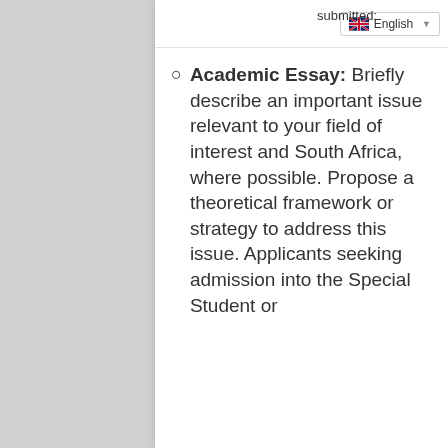submitted:
Academic Essay: Briefly describe an important issue relevant to your field of interest and South Africa, where possible. Propose a theoretical framework or strategy to address this issue. Applicants seeking admission into the Special Student or